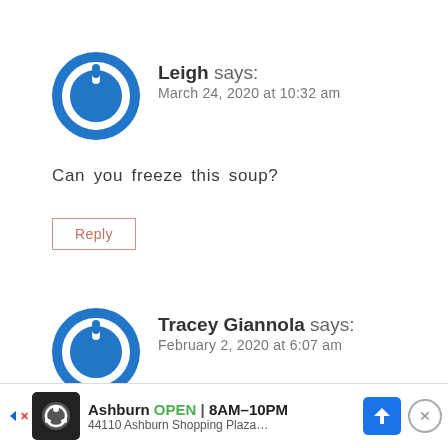[Figure (illustration): Blue circular avatar with power button icon for user Leigh]
Leigh says:
March 24, 2020 at 10:32 am
Can you freeze this soup?
Reply
[Figure (illustration): Blue circular avatar with power button icon for user Tracey Giannola]
Tracey Giannola says:
February 2, 2020 at 6:07 am
Hi! D…nto
[Figure (other): Advertisement bar: Ashburn OPEN 8AM-10PM, 44110 Ashburn Shopping Plaza...]